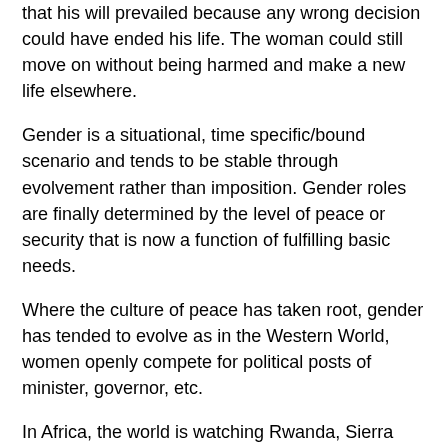that his will prevailed because any wrong decision could have ended his life. The woman could still move on without being harmed and make a new life elsewhere.
Gender is a situational, time specific/bound scenario and tends to be stable through evolvement rather than imposition. Gender roles are finally determined by the level of peace or security that is now a function of fulfilling basic needs.
Where the culture of peace has taken root, gender has tended to evolve as in the Western World, women openly compete for political posts of minister, governor, etc.
In Africa, the world is watching Rwanda, Sierra Leone and Malawi where women are highly represented in Parliament more than in the United States of America as well as many Western democracies. How will the quality of decisions improve!
Perhaps, it marks the beginning of the end of gender debate. Most important of all, will it ensure peace?